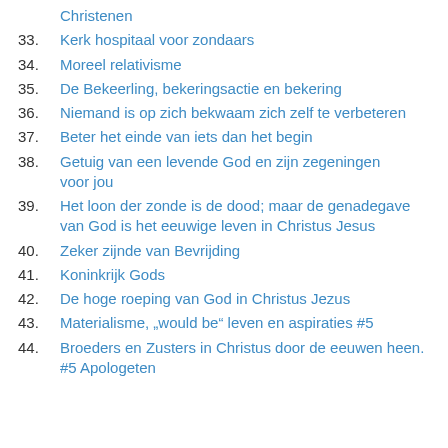Christenen
33. Kerk hospitaal voor zondaars
34. Moreel relativisme
35. De Bekeerling, bekeringsactie en bekering
36. Niemand is op zich bekwaam zich zelf te verbeteren
37. Beter het einde van iets dan het begin
38. Getuig van een levende God en zijn zegeningen voor jou
39. Het loon der zonde is de dood; maar de genadegave van God is het eeuwige leven in Christus Jesus
40. Zeker zijnde van Bevrijding
41. Koninkrijk Gods
42. De hoge roeping van God in Christus Jezus
43. Materialisme, „would be“ leven en aspiraties #5
44. Broeders en Zusters in Christus door de eeuwen heen. #5 Apologeten